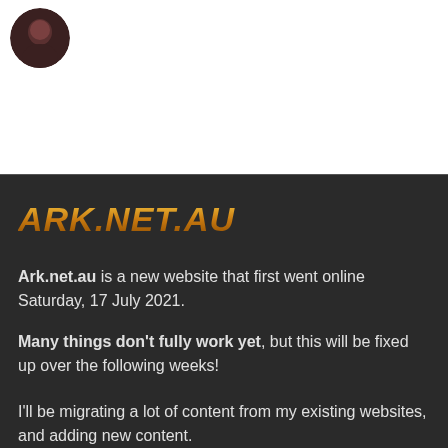[Figure (photo): Circular avatar/profile photo in the upper left corner, showing a person's face with dark background]
[Figure (logo): ARK.NET.AU logo in stylized golden/orange runic lettering]
Ark.net.au is a new website that first went online Saturday, 17 July 2021.
Many things don't fully work yet, but this will be fixed up over the following weeks!
I'll be migrating a lot of content from my existing websites, and adding new content.